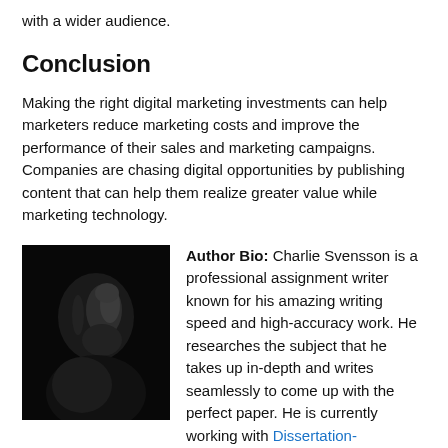with a wider audience.
Conclusion
Making the right digital marketing investments can help marketers reduce marketing costs and improve the performance of their sales and marketing campaigns. Companies are chasing digital opportunities by publishing content that can help them realize greater value while marketing technology.
[Figure (photo): Black and white portrait photo of a person in dark lighting, showing profile/side view of face]
Author Bio: Charlie Svensson is a professional assignment writer known for his amazing writing speed and high-accuracy work. He researches the subject that he takes up in-depth and writes seamlessly to come up with the perfect paper. He is currently working with Dissertation-today.com, a popular name in the academic writing field.